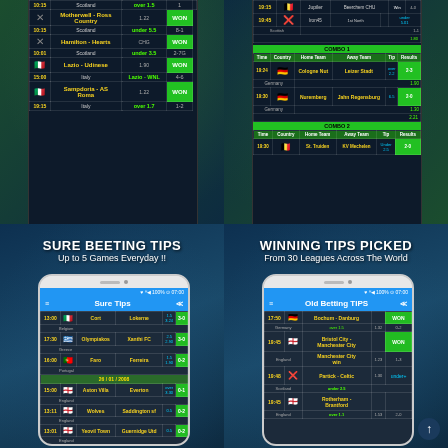[Figure (screenshot): Top-left app screenshot showing betting tips table with Scotland, Motherwell-Ross County, Hamilton-Hearts, Lazio-Udinese, Sampdoria-AS Roma entries with WON results]
[Figure (screenshot): Top-right app screenshot showing COMBO 1 and COMBO 2 tables with Germany and other league matches]
[Figure (screenshot): Bottom-left phone mockup showing Sure Tips app with text SURE BEETING TIPS Up to 5 Games Everyday !! and betting table]
[Figure (screenshot): Bottom-right phone mockup showing Old Betting TIPS app with text WINNING TIPS PICKED From 30 Leagues Across The World and betting table]